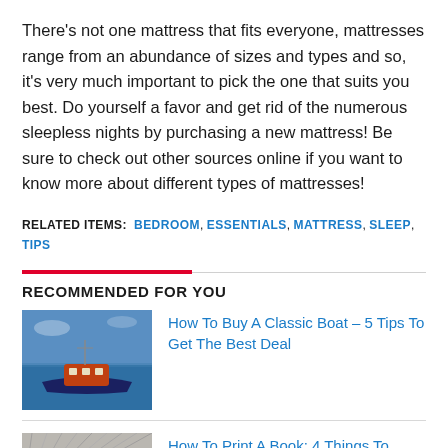There's not one mattress that fits everyone, mattresses range from an abundance of sizes and types and so, it's very much important to pick the one that suits you best. Do yourself a favor and get rid of the numerous sleepless nights by purchasing a new mattress! Be sure to check out other sources online if you want to know more about different types of mattresses!
RELATED ITEMS: BEDROOM, ESSENTIALS, MATTRESS, SLEEP, TIPS
RECOMMENDED FOR YOU
[Figure (photo): Photo of a classic wooden boat on blue water]
How To Buy A Classic Boat – 5 Tips To Get The Best Deal
[Figure (photo): Photo of book pages fanned out, grayscale]
How To Print A Book: 4 Things To Have